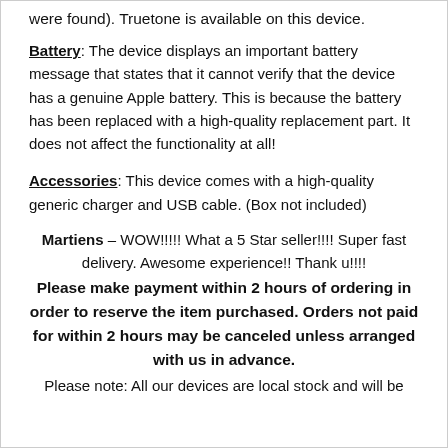were found). Truetone is available on this device.
Battery: The device displays an important battery message that states that it cannot verify that the device has a genuine Apple battery. This is because the battery has been replaced with a high-quality replacement part. It does not affect the functionality at all!
Accessories: This device comes with a high-quality generic charger and USB cable. (Box not included)
Martiens – WOW!!!!! What a 5 Star seller!!!! Super fast delivery. Awesome experience!! Thank u!!!!
Please make payment within 2 hours of ordering in order to reserve the item purchased. Orders not paid for within 2 hours may be canceled unless arranged with us in advance.
Please note: All our devices are local stock and will be